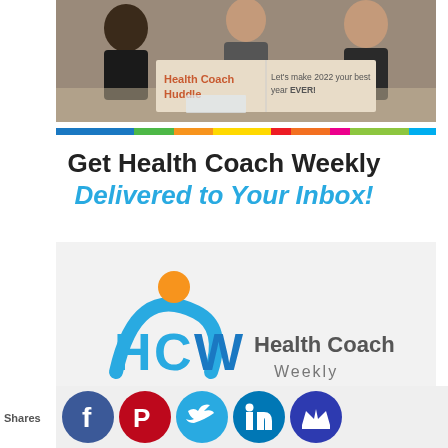[Figure (photo): Three women sitting at a table in a business meeting, smiling and working together. Overlay banner reads 'Health Coach Huddle' and 'Let's make 2022 your best year EVER!']
[Figure (infographic): Multicolored horizontal stripe bar (rainbow divider)]
Get Health Coach Weekly Delivered to Your Inbox!
[Figure (logo): Health Coach Weekly logo with stylized HCW letters, an orange sun/circle, and blue swoosh. Below are social media icons: Facebook (blue), Pinterest (red), Twitter (light blue), LinkedIn (blue), and a crown icon (dark blue).]